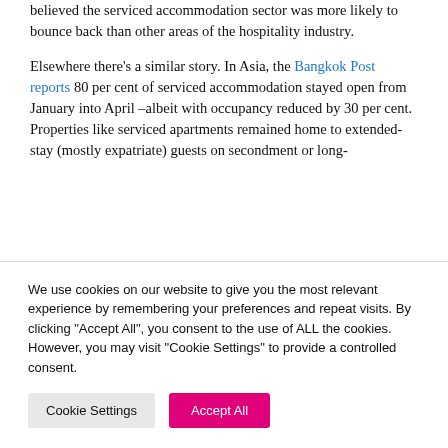believed the serviced accommodation sector was more likely to bounce back than other areas of the hospitality industry.
Elsewhere there's a similar story. In Asia, the Bangkok Post reports 80 per cent of serviced accommodation stayed open from January into April –albeit with occupancy reduced by 30 per cent. Properties like serviced apartments remained home to extended-stay (mostly expatriate) guests on secondment or long-
We use cookies on our website to give you the most relevant experience by remembering your preferences and repeat visits. By clicking "Accept All", you consent to the use of ALL the cookies. However, you may visit "Cookie Settings" to provide a controlled consent.